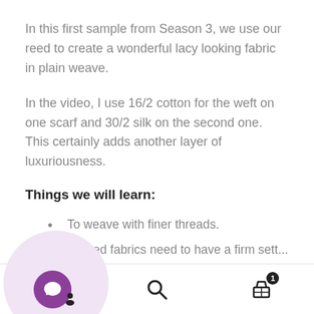In this first sample from Season 3, we use our reed to create a wonderful lacy looking fabric in plain weave.
In the video, I use 16/2 cotton for the weft on one scarf and 30/2 silk on the second one. This certainly adds another layer of luxuriousness.
Things we will learn:
To weave with finer threads.
Dented fabrics need to have a firm sett... they are not woven at an open sett. Our reed and